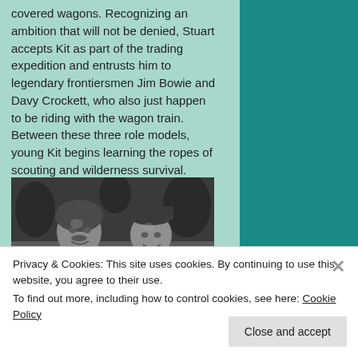covered wagons. Recognizing an ambition that will not be denied, Stuart accepts Kit as part of the trading expedition and entrusts him to legendary frontiersmen Jim Bowie and Davy Crockett, who also just happen to be riding with the wagon train. Between these three role models, young Kit begins learning the ropes of scouting and wilderness survival.
[Figure (photo): Black and white photograph of two men, presumably actors playing frontiersmen characters, outdoors with trees in background]
Privacy & Cookies: This site uses cookies. By continuing to use this website, you agree to their use.
To find out more, including how to control cookies, see here: Cookie Policy